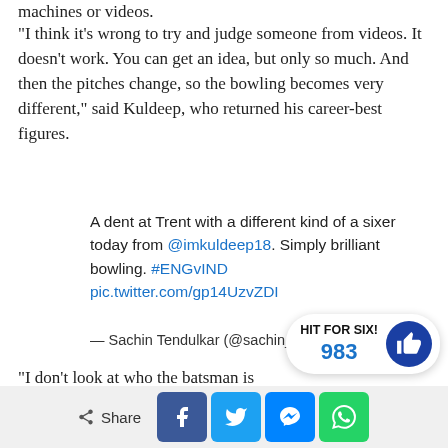machines or videos.
“I think it’s wrong to try and judge someone from videos. It doesn’t work. You can get an idea, but only so much. And then the pitches change, so the bowling becomes very different,” said Kuldeep, who returned his career-best figures.
A dent at Trent with a different kind of a sixer today from @imkuldeep18. Simply brilliant bowling. #ENGvIND pic.twitter.com/gp14UzvZDI
— Sachin Tendulkar (@sachin_rt) July 12, 2018
“I don’t look at who the batsman is wh... don’t believe in bowling machines. The machine doesn’t have
[Figure (infographic): HIT FOR SIX! badge with count 983 and thumbs up icon]
[Figure (infographic): Social share bar with Share, Facebook, Twitter, Messenger, WhatsApp buttons]